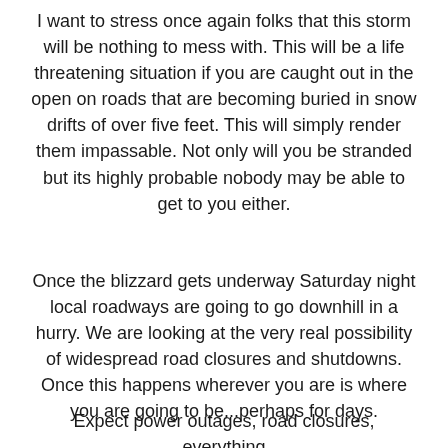I want to stress once again folks that this storm will be nothing to mess with. This will be a life threatening situation if you are caught out in the open on roads that are becoming buried in snow drifts of over five feet. This will simply render them impassable. Not only will you be stranded but its highly probable nobody may be able to get to you either.
Once the blizzard gets underway Saturday night local roadways are going to go downhill in a hurry. We are looking at the very real possibility of widespread road closures and shutdowns. Once this happens wherever you are is where you are going to be...perhaps for days.
Expect power outages, road closures, everything